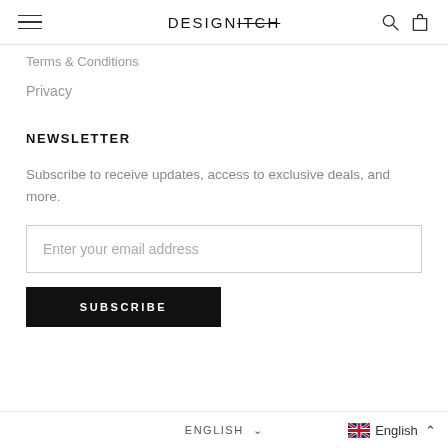DESIGNITCH
Terms & Conditions
Privacy
NEWSLETTER
Subscribe to receive updates, access to exclusive deals, and more.
Enter your email address
SUBSCRIBE
ENGLISH  English